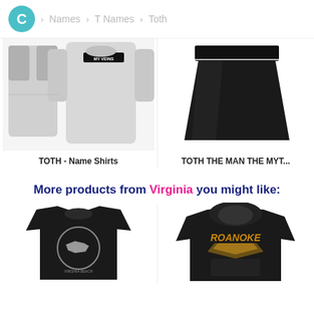C > Names > T Names > Toth
[Figure (photo): Gray sweatshirt with 'MY VEINS' text on chest, shown front and back]
[Figure (photo): Black skirt product photo on white background]
TOTH - Name Shirts
TOTH THE MAN THE MYT...
More products from Virginia you might like:
[Figure (photo): Black t-shirt with Virginia Beach circular logo design]
[Figure (photo): Black hoodie with Roanoke text and graphic design]